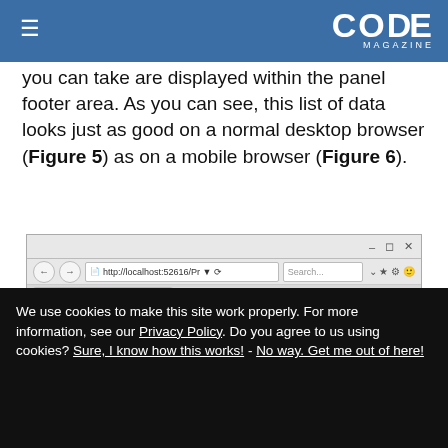CODE MAGAZINE
you can take are displayed within the panel footer area. As you can see, this list of data looks just as good on a normal desktop browser (Figure 5) as on a mobile browser (Figure 6).
[Figure (screenshot): Browser screenshot showing ASP.NET Products page with Application name navbar, Products heading, and 'Add Angular to MVC Applications' panel header. A cookie consent bar is visible at the bottom.]
We use cookies to make this site work properly. For more information, see our Privacy Policy. Do you agree to us using cookies? Sure, I know how this works! - No way. Get me out of here!